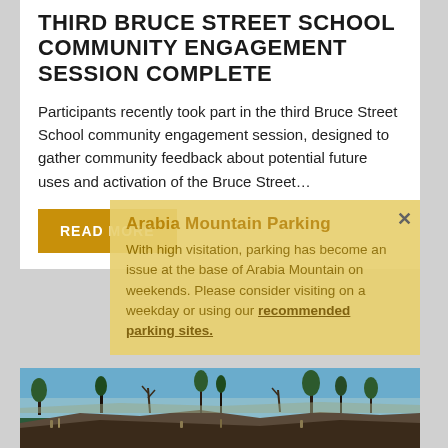THIRD BRUCE STREET SCHOOL COMMUNITY ENGAGEMENT SESSION COMPLETE
Participants recently took part in the third Bruce Street School community engagement session, designed to gather community feedback about potential future uses and activation of the Bruce Street…
READ MORE
Arabia Mountain Parking
With high visitation, parking has become an issue at the base of Arabia Mountain on weekends. Please consider visiting on a weekday or using our recommended parking sites.
[Figure (photo): Outdoor landscape photo of Arabia Mountain showing rocky terrain with sparse pine trees against a blue sky]